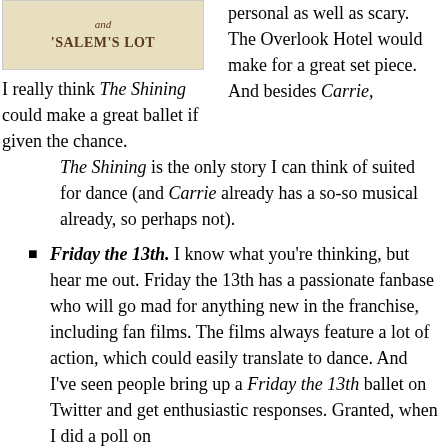[Figure (illustration): Book cover or partial image showing 'and' and "'SALEM'S LOT" text on a cream/tan background]
personal as well as scary. The Overlook Hotel would make for a great set piece. And besides Carrie, The Shining is the only story I can think of suited for dance (and Carrie already has a so-so musical already, so perhaps not).
I really think The Shining could make a great ballet if given the chance.
Friday the 13th. I know what you're thinking, but hear me out. Friday the 13th has a passionate fanbase who will go mad for anything new in the franchise, including fan films. The films always feature a lot of action, which could easily translate to dance. And I've seen people bring up a Friday the 13th ballet on Twitter and get enthusiastic responses. Granted, when I did a poll on